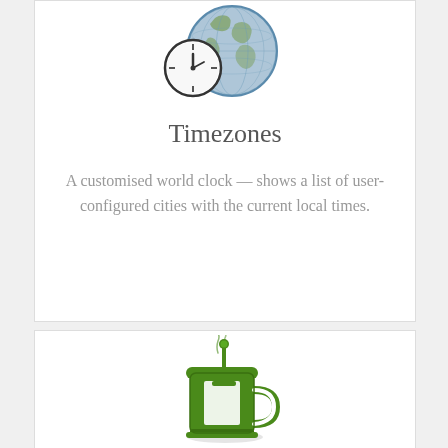[Figure (illustration): Globe with a clock overlay icon — world clock illustration in blue-grey tones]
Timezones
A customised world clock — shows a list of user-configured cities with the current local times.
[Figure (illustration): Green French press coffee maker icon with steam rising from the top]